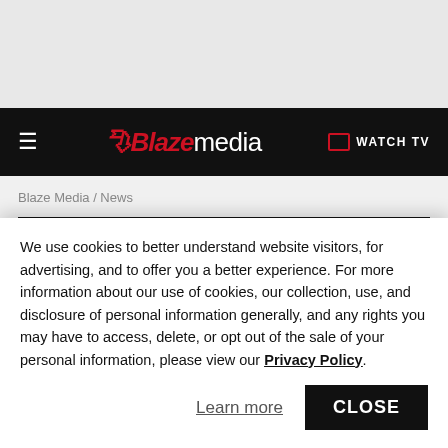Blaze media — WATCH TV
Blaze Media / News
Two Women Use Football Rivalry Game to Raise Money to [Bring Justice to Sex...
We use cookies to better understand website visitors, for advertising, and to offer you a better experience. For more information about our use of cookies, our collection, use, and disclosure of personal information generally, and any rights you may have to access, delete, or opt out of the sale of your personal information, please view our Privacy Policy.
Learn more
CLOSE